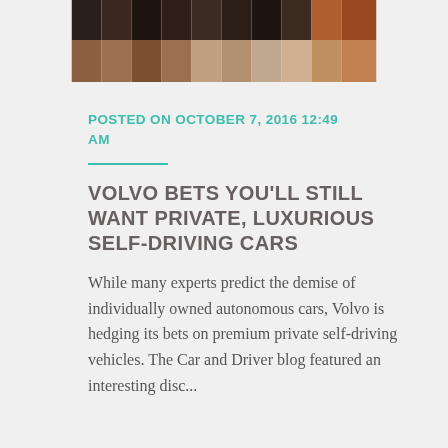[Figure (photo): Partially visible pixelated/blurred image of what appears to be wooden objects or furniture with warm brown and orange tones, cropped at the top of the page]
POSTED ON OCTOBER 7, 2016 12:49 AM
VOLVO BETS YOU'LL STILL WANT PRIVATE, LUXURIOUS SELF-DRIVING CARS
While many experts predict the demise of individually owned autonomous cars, Volvo is hedging its bets on premium private self-driving vehicles. The Car and Driver blog featured an interesting discussion about how Volvo is...